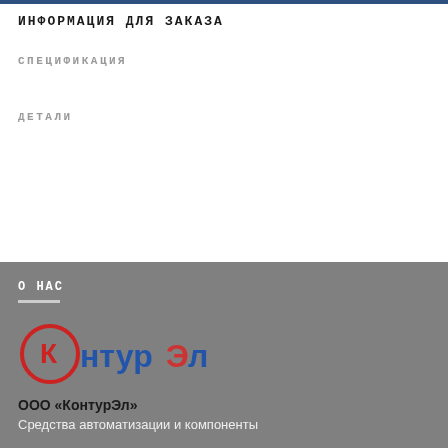ИНФОРМАЦИЯ ДЛЯ ЗАКАЗА
СПЕЦИФИКАЦИЯ
ДЕТАЛИ
О НАС
[Figure (logo): КонтурЭл company logo — red circle with letter К inside, blue text НтурЭл]
ООО «КонтурЭл»
Средства автоматизации и компоненты